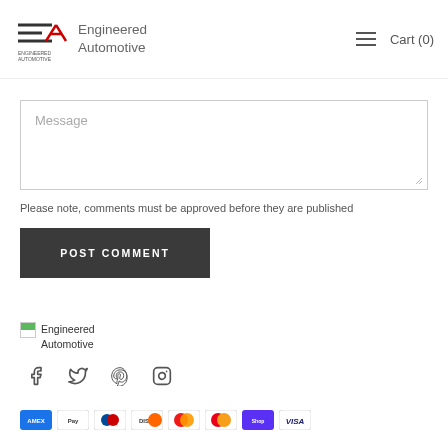Engineered Automotive — Cart (0)
Message
Please note, comments must be approved before they are published
POST COMMENT
[Figure (logo): Engineered Automotive footer logo and brand name]
[Figure (infographic): Social media icons: Facebook, Twitter, Pinterest, Instagram]
[Figure (infographic): Payment method icons row at bottom of page]